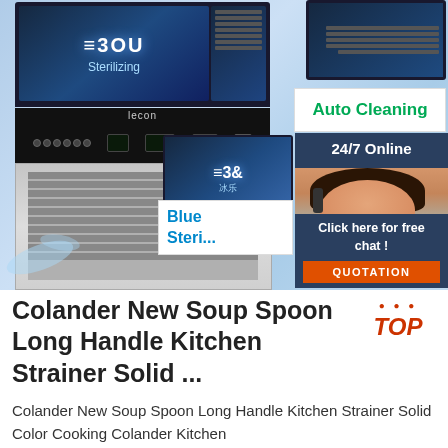[Figure (photo): Commercial ice maker machine (lecon brand) with blue LED display showing '3SOU Sterilizing' text, stainless steel body with ventilation grilles, multiple machines shown, auto cleaning banner, 24/7 online chat widget with female agent wearing headset, blue sterilizing feature callout, and orange QUOTATION button]
Colander New Soup Spoon Long Handle Kitchen Strainer Solid ...
Colander New Soup Spoon Long Handle Kitchen Strainer Solid Color Cooking Colander Kitchen